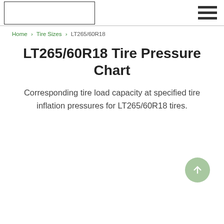[Logo] [Hamburger menu]
Home > Tire Sizes > LT265/60R18
LT265/60R18 Tire Pressure Chart
Corresponding tire load capacity at specified tire inflation pressures for LT265/60R18 tires.